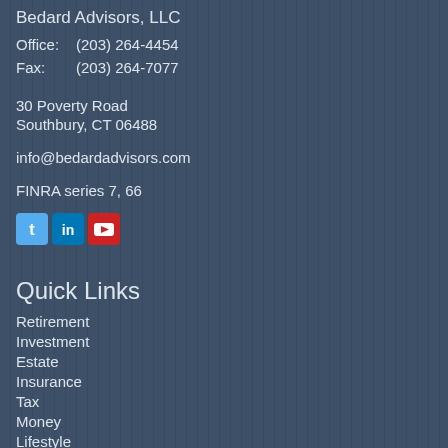Bedard Advisors, LLC
Office:  (203) 264-4454
Fax:      (203) 264-7077
30 Poverty Road
Southbury, CT 06488
info@bedardadvisors.com
FINRA series 7, 66
[Figure (other): Social media icons: Twitter (blue bird icon), LinkedIn (blue in icon), YouTube (red camera icon)]
Quick Links
Retirement
Investment
Estate
Insurance
Tax
Money
Lifestyle